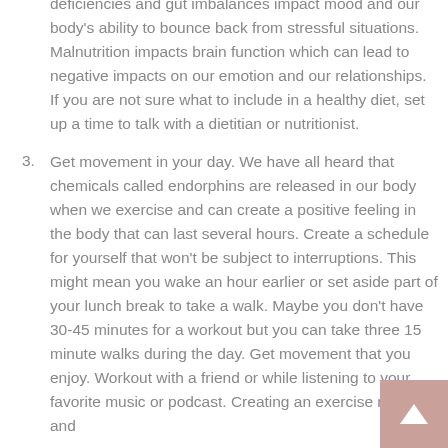deficiencies and gut imbalances impact mood and our body's ability to bounce back from stressful situations. Malnutrition impacts brain function which can lead to negative impacts on our emotion and our relationships. If you are not sure what to include in a healthy diet, set up a time to talk with a dietitian or nutritionist.
3. Get movement in your day. We have all heard that chemicals called endorphins are released in our body when we exercise and can create a positive feeling in the body that can last several hours. Create a schedule for yourself that won't be subject to interruptions. This might mean you wake an hour earlier or set aside part of your lunch break to take a walk. Maybe you don't have 30-45 minutes for a workout but you can take three 15 minute walks during the day. Get movement that you enjoy. Workout with a friend or while listening to your favorite music or podcast. Creating an exercise routine and